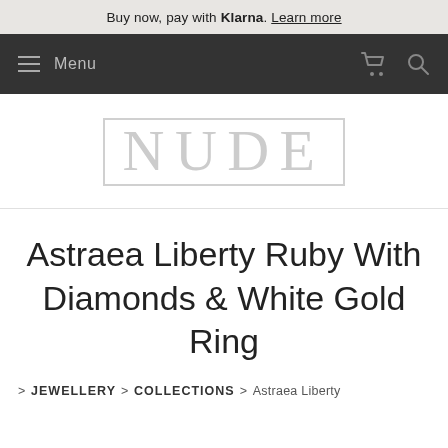Buy now, pay with Klarna. Learn more
Menu
[Figure (logo): NUDE jewellery brand logo in outline serif letters with border]
Astraea Liberty Ruby With Diamonds & White Gold Ring
> JEWELLERY > COLLECTIONS > Astraea Liberty